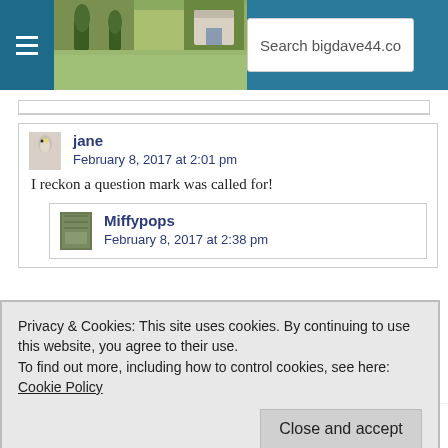Search bigdave44.co
I reckon a question mark was called for!
Miffypops
February 8, 2017 at 2:38 pm
Privacy & Cookies: This site uses cookies. By continuing to use this website, you agree to their use.
To find out more, including how to control cookies, see here: Cookie Policy
Well I messed up the mini sodoffku in record time. I have only entered six numbers and already there are two